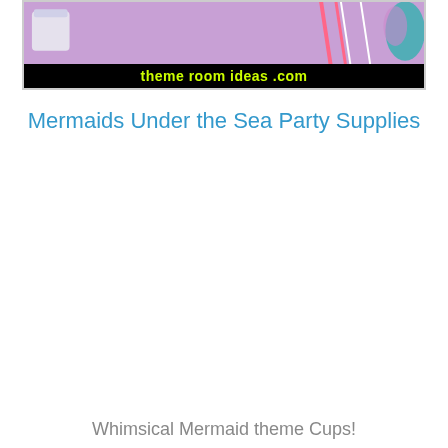[Figure (photo): Banner image showing mermaid party supplies with purple background and decorative items including striped straws and colorful accessories, with a black bar at the bottom displaying the website URL 'themeroomideas.com' in yellow-green text]
Mermaids Under the Sea Party Supplies
Whimsical Mermaid theme Cups!